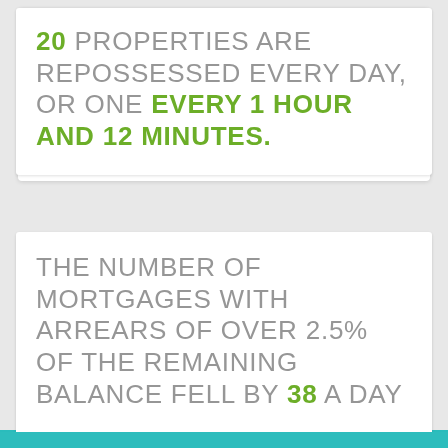20 PROPERTIES ARE REPOSSESSED EVERY DAY, OR ONE EVERY 1 HOUR AND 12 MINUTES.
THE NUMBER OF MORTGAGES WITH ARREARS OF OVER 2.5% OF THE REMAINING BALANCE FELL BY 38 A DAY
By clicking “Allow all cookies”, you agree to the storing of cookies on your device to enhance site navigation, and increase your user experience. Essential Cookies cannot be disabled, however you can opt-out of your data being stored. Click here to read our Cookie policy.
Allow only necessary cookies
Allow all cookies